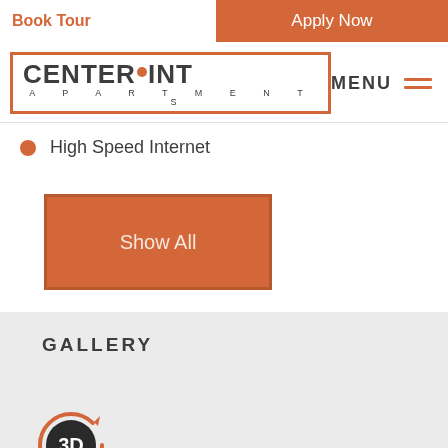Book Tour | Apply Now
[Figure (logo): Centerpoint Apartments logo with orange dot and border]
MENU
High Speed Internet
Show All
GALLERY
[Figure (other): 3D tour icon - dark circular badge with orange ring and '3D' text]